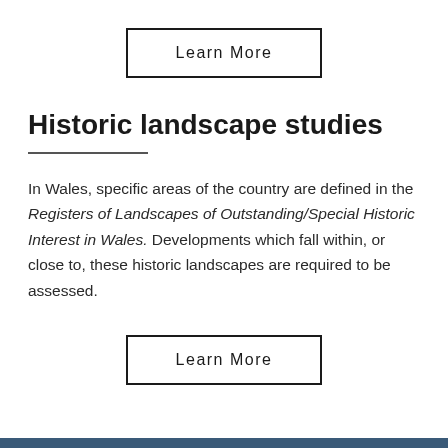Learn More
Historic landscape studies
In Wales, specific areas of the country are defined in the Registers of Landscapes of Outstanding/Special Historic Interest in Wales. Developments which fall within, or close to, these historic landscapes are required to be assessed.
Learn More